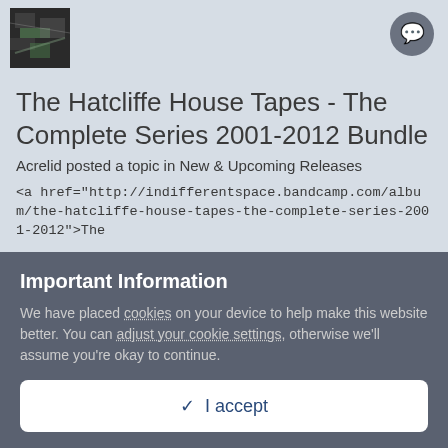[Figure (photo): Small album art thumbnail image showing abstract black and white/green pattern]
The Hatcliffe House Tapes - The Complete Series 2001-2012 Bundle
Acrelid posted a topic in New & Upcoming Releases
<a href="http://indifferentspace.bandcamp.com/album/the-hatcliffe-house-tapes-the-complete-series-2001-2012">The
November 18, 2019
Berlin School  Vintage Electronic  (and 7 more)
Important Information
We have placed cookies on your device to help make this website better. You can adjust your cookie settings, otherwise we'll assume you're okay to continue.
I accept